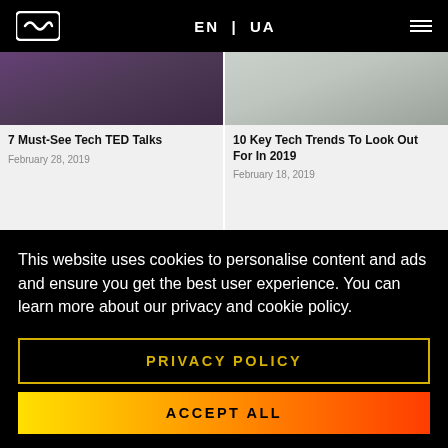EN | UA ≡
[Figure (screenshot): Article card image: 7 Must-See Tech TED Talks, left side, dark purple/grey photo]
7 Must-See Tech TED Talks
February 28, 2019
[Figure (screenshot): Article card image: 10 Key Tech Trends To Look Out For In 2019, right side, light grey/green photo]
10 Key Tech Trends To Look Out For In 2019
February 18, 2019
This website uses cookies to personalise content and ads and ensure you get the best user experience. You can learn more about our privacy and cookie policy.
PRIVACY POLICY
ACCEPT ALL